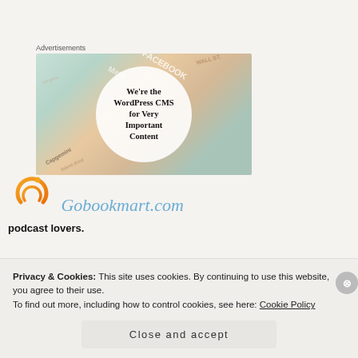Advertisements
[Figure (illustration): Advertisement banner for WordPress CMS with colorful overlapping cards (Meta, FACEBOOK, etc.) and a white circle overlay with text 'We're the WordPress CMS for Very Important Content']
[Figure (logo): Gobookmart.com logo with orange circular icon]
Gobookmart.com
Privacy & Cookies: This site uses cookies. By continuing to use this website, you agree to their use.
To find out more, including how to control cookies, see here: Cookie Policy
Close and accept
podcast lovers.